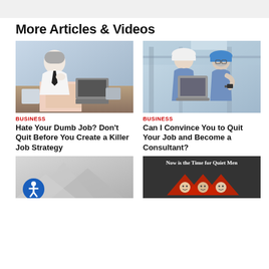More Articles & Videos
[Figure (photo): Businessman in white shirt reviewing documents at desk with laptop, thoughtful expression]
BUSINESS
Hate Your Dumb Job? Don't Quit Before You Create a Killer Job Strategy
[Figure (photo): Two workers in hard hats and blue shirts looking at laptop in industrial facility]
BUSINESS
Can I Convince You to Quit Your Job and Become a Consultant?
[Figure (photo): Gray abstract background photo, partial view]
[Figure (infographic): Infographic titled 'Now is the Time for Quiet Men' with triangle shapes and people photos]